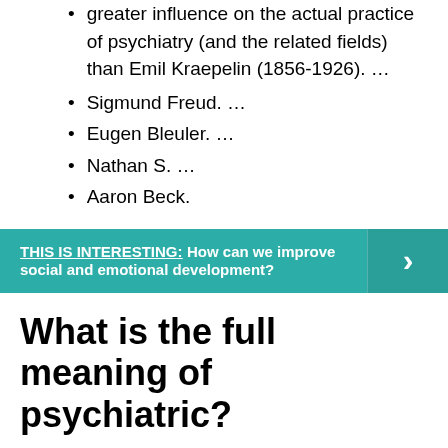greater influence on the actual practice of psychiatry (and the related fields) than Emil Kraepelin (1856-1926). …
Sigmund Freud. …
Eugen Bleuler. …
Nathan S. …
Aaron Beck.
THIS IS INTERESTING:  How can we improve social and emotional development?
What is the full meaning of psychiatric?
Psychiatric means relating to psychiatry. We finally insisted that he seek psychiatric help.